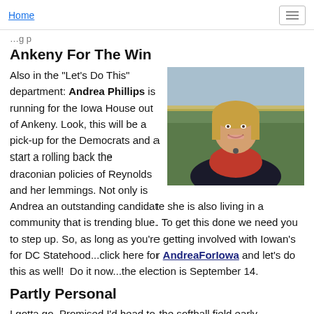Home
Ankeny For The Win
Also in the "Let's Do This" department: Andrea Phillips is running for the Iowa House out of Ankeny. Look, this will be a pick-up for the Democrats and a start a rolling back the draconian policies of Reynolds and her lemmings. Not only is Andrea an outstanding candidate she is also living in a community that is trending blue. To get this done we need you to step up. So, as long as you're getting involved with Iowan's for DC Statehood...click here for AndreaForIowa and let's do this as well!  Do it now...the election is September 14.
[Figure (photo): Headshot of Andrea Phillips, a smiling blonde woman in a black blazer over a red top, photographed outdoors.]
Partly Personal
I gotta go. Promised I'd head to the softball field early